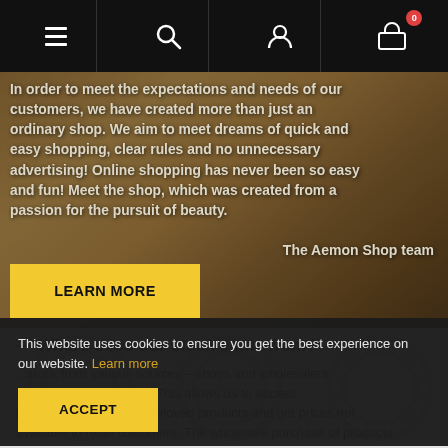[Figure (screenshot): E-commerce website navigation bar with hamburger menu, search, user account, and cart (badge showing 0) icons on black background]
[Figure (photo): Hero section with warm-toned photograph of a woman, overlaid with bold white text about the Aemon Shop's mission and a yellow LEARN MORE button]
In order to meet the expectations and needs of our customers, we have created more than just an ordinary shop. We aim to meet dreams of quick and easy shopping, clear rules and no unnecessary advertising! Online shopping has never been so easy and fun! Meet the shop, which was created from a passion for the pursuit of beauty.
The Aemon Shop team
LEARN MORE
Where does our stock come from?
stock from various sources – shops and wholesalers, arent parts of the world. This allows us to access limited editions of your beloved products and get prices not available to retail customers. The wholesale purchase of products
This website uses cookies to ensure you get the best experience on our website. Learn more
ACCEPT